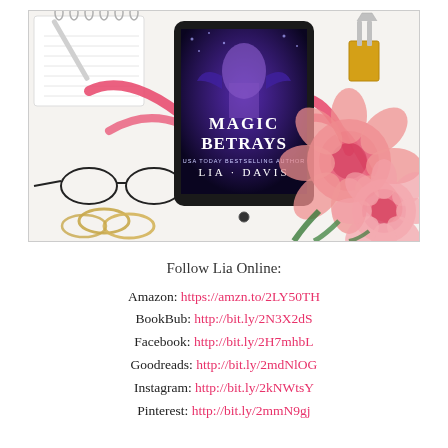[Figure (photo): Flatlay photo showing a tablet displaying the book cover 'Magic Betrays' by Lia Davis (USA Today Bestselling Author), surrounded by a pink ribbon, reading glasses, gold rings, a binder clip, a spiral notebook, and pink peony flowers on a white background.]
Follow Lia Online:
Amazon: https://amzn.to/2LY50TH
BookBub: http://bit.ly/2N3X2dS
Facebook: http://bit.ly/2H7mhbL
Goodreads: http://bit.ly/2mdNlOG
Instagram: http://bit.ly/2kNWtsY
Pinterest: http://bit.ly/2mmN9gj